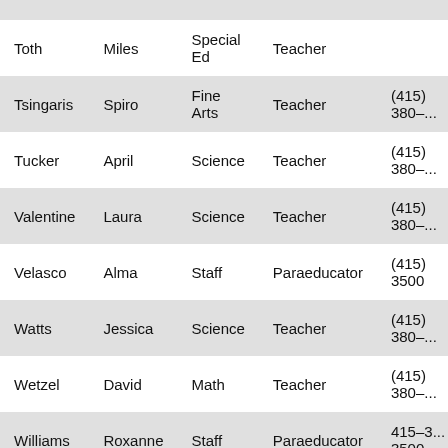| Last Name | First Name | Department | Role | Phone |
| --- | --- | --- | --- | --- |
| Toth | Miles | Special Ed | Teacher |  |
| Tsingaris | Spiro | Fine Arts | Teacher | (415) 380-... |
| Tucker | April | Science | Teacher | (415) 380-... |
| Valentine | Laura | Science | Teacher | (415) 380-... |
| Velasco | Alma | Staff | Paraeducator | (415) 3500 |
| Watts | Jessica | Science | Teacher | (415) 380-... |
| Wetzel | David | Math | Teacher | (415) 380-... |
| Williams | Roxanne | Staff | Paraeducator | 415-3... 3500 |